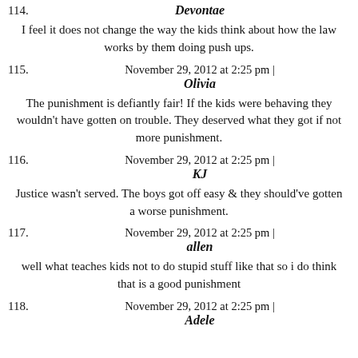114. Devontae
I feel it does not change the way the kids think about how the law works by them doing push ups.
115. November 29, 2012 at 2:25 pm | Olivia
The punishment is defiantly fair! If the kids were behaving they wouldn't have gotten on trouble. They deserved what they got if not more punishment.
116. November 29, 2012 at 2:25 pm | KJ
Justice wasn't served. The boys got off easy & they should've gotten a worse punishment.
117. November 29, 2012 at 2:25 pm | allen
well what teaches kids not to do stupid stuff like that so i do think that is a good punishment
118. November 29, 2012 at 2:25 pm | Adele